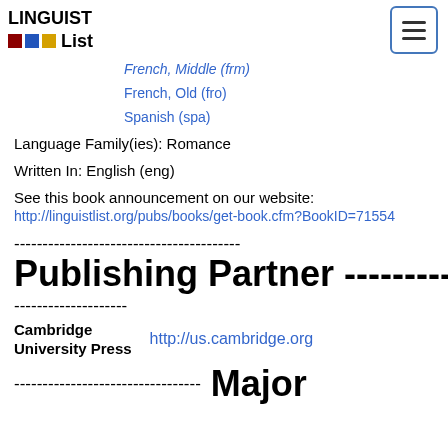LINGUIST List
French, Middle (frm)
French, Old (fro)
Spanish (spa)
Language Family(ies): Romance
Written In: English (eng)
See this book announcement on our website:
http://linguistlist.org/pubs/books/get-book.cfm?BookID=71554
----------------------------------------
Publishing Partner ----------------
--------------------
Cambridge University Press
http://us.cambridge.org
--------------------------------- Major